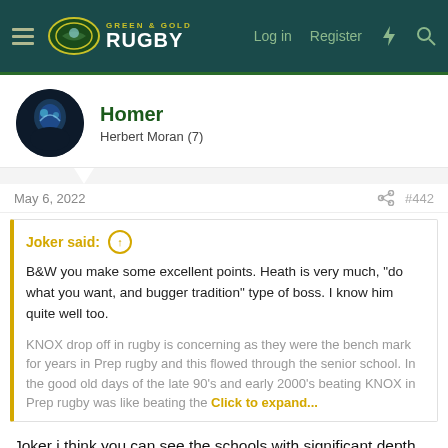Green & Gold Rugby — Log in  Register
Homer
Herbert Moran (7)
May 6, 2022  #442
Joker said:
B&W you make some excellent points. Heath is very much, "do what you want, and bugger tradition" type of boss. I know him quite well too.

KNOX drop off in rugby is concerning as they were the bench mark for years in Prep rugby and this flowed through the senior school. In the good old days of the late 90's and early 2000's beating KNOX in Prep rugby was like beating the All Blacks. Those lads made up the bulk of
Click to expand...
Joker i think you can see the schools with significant depth are the schools who have invested in a complete rugby program and haven't just used their resources for the 1sts. Scots and Joey's being prime examples and thats why they have depth. Its